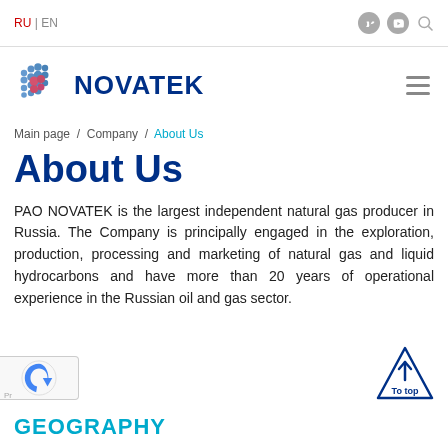RU | EN
[Figure (logo): NOVATEK company logo with blue/red dotted sphere icon and bold dark blue NOVATEK text]
Main page / Company / About Us
About Us
PAO NOVATEK is the largest independent natural gas producer in Russia. The Company is principally engaged in the exploration, production, processing and marketing of natural gas and liquid hydrocarbons and have more than 20 years of operational experience in the Russian oil and gas sector.
GEOGRAPHY